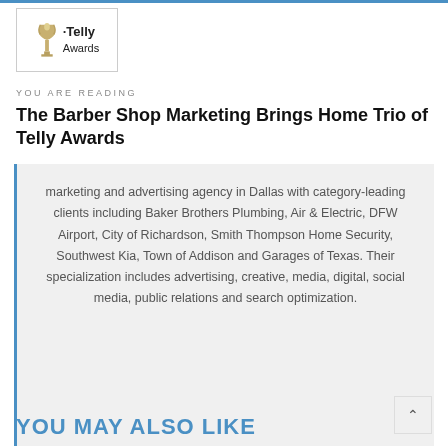[Figure (logo): Telly Awards logo with trophy icon and text]
YOU ARE READING
The Barber Shop Marketing Brings Home Trio of Telly Awards
marketing and advertising agency in Dallas with category-leading clients including Baker Brothers Plumbing, Air & Electric, DFW Airport, City of Richardson, Smith Thompson Home Security, Southwest Kia, Town of Addison and Garages of Texas. Their specialization includes advertising, creative, media, digital, social media, public relations and search optimization.
YOU MAY ALSO LIKE